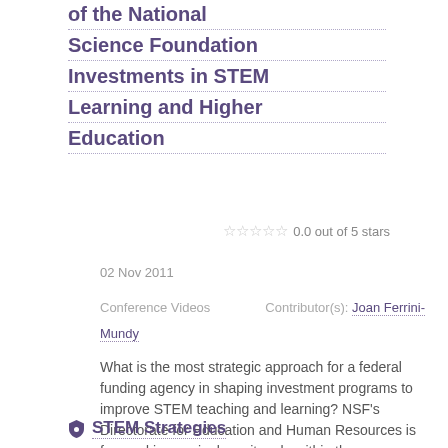of the National Science Foundation Investments in STEM Learning and Higher Education
0.0 out of 5 stars
02 Nov 2011
Conference Videos    Contributor(s): Joan Ferrini-Mundy
What is the most strategic approach for a federal funding agency in shaping investment programs to improve STEM teaching and learning? NSF's Directorate for Education and Human Resources is focused increasingly on its role within the Foundation and in coordination with other agencies in...
STEM Strategies